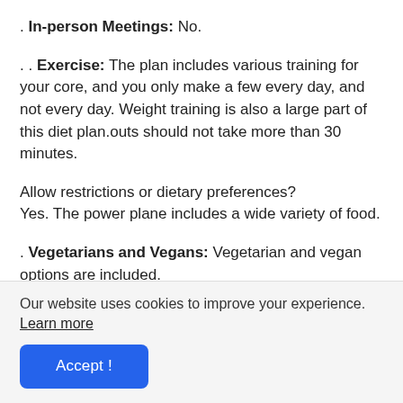. In-person Meetings: No.
. . Exercise: The plan includes various training for your core, and you only make a few every day, and not every day. Weight training is also a large part of this diet plan.outs should not take more than 30 minutes.
Allow restrictions or dietary preferences?
Yes. The power plane includes a wide variety of food.
. Vegetarians and Vegans: Vegetarian and vegan options are included.
Our website uses cookies to improve your experience. Learn more